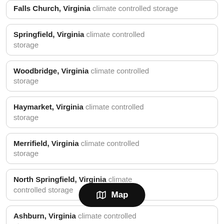Falls Church, Virginia climate controlled storage
Springfield, Virginia climate controlled storage
Woodbridge, Virginia climate controlled storage
Haymarket, Virginia climate controlled storage
Merrifield, Virginia climate controlled storage
North Springfield, Virginia climate controlled storage
Ashburn, Virginia climate controlled storage